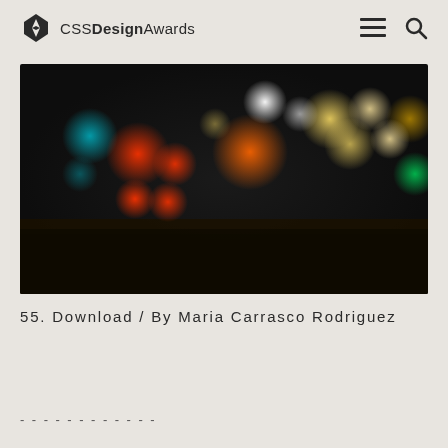CSS Design Awards
[Figure (photo): Blurred bokeh night city lights photo with colorful out-of-focus light orbs in red, orange, green, white and yellow against a dark background]
55. Download / By Maria Carrasco Rodriguez
- - - - - - - - - - - -